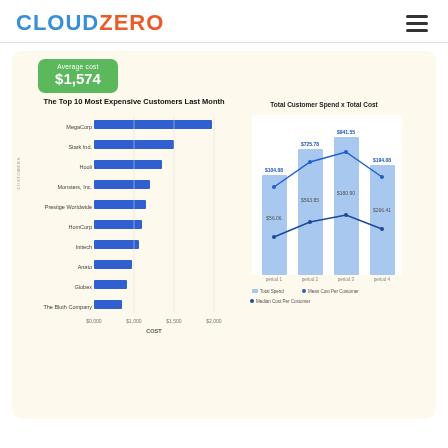CLOUDZERO
[Figure (screenshot): CloudZero dashboard screenshot showing: (1) A green badge with 'Average cost $1,574'. (2) A horizontal bar chart titled 'The Top 10 Most Expensive Customers Last Month' with customers: MegaCorp, Stark Ind., Hooli, Monsters Inc., Prestige Worldwide, HomCorp, Initech, Anato, Globex, The Bluth Company on Y-axis and Cost values up to $2,000 on X-axis. (3) A combined bar+line chart titled 'Total Customer Spend x Total Cost' showing 4 time periods with stacked bars (light blue) and two line series for Mean Cost Per Customer and Median Cost Per Customer, with values labeled on bars and lines.]